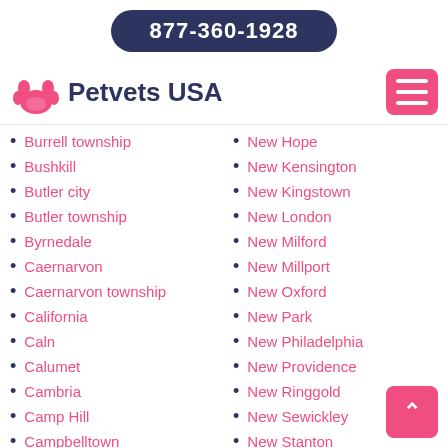877-360-1928
Petvets USA
Burrell township
Bushkill
Butler city
Butler township
Byrnedale
Caernarvon
Caernarvon township
California
Caln
Calumet
Cambria
Camp Hill
Campbelltown
New Hope
New Kensington
New Kingstown
New London
New Milford
New Millport
New Oxford
New Park
New Philadelphia
New Providence
New Ringgold
New Sewickley
New Stanton